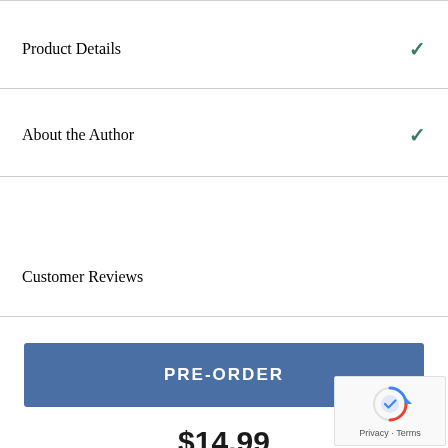Product Details
About the Author
Customer Reviews
PRE-ORDER
$14.99
[Figure (logo): Google reCAPTCHA badge with spinner icon and Privacy · Terms text]